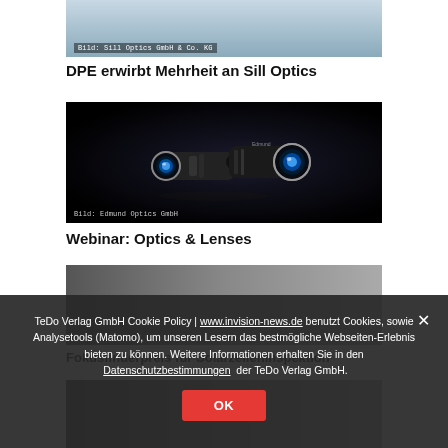[Figure (photo): Photo of people, partial crop at top. Caption: Bild: Sill Optics GmbH & Co. KG]
Bild: Sill Optics GmbH & Co. KG
DPE erwirbt Mehrheit an Sill Optics
[Figure (photo): Photo of two black camera lenses with blue glass elements on dark background. Caption: Bild: Edmund Optics GmbH]
Bild: Edmund Optics GmbH
Webinar: Optics & Lenses
[Figure (photo): Photo of group of people, partial view. Caption: Bild: PPI Sensors GmbH]
Bild: PPI Sensors GmbH
Fokusfinderpreis für Solarzelleninspektion
[Figure (photo): Fourth image row, partial, showing people]
TeDo Verlag GmbH Cookie Policy | www.invision-news.de benutzt Cookies, sowie Analysetools (Matomo), um unseren Lesern das bestmögliche Webseiten-Erlebnis bieten zu können. Weitere Informationen erhalten Sie in den Datenschutzbestimmungen der TeDo Verlag GmbH.
OK